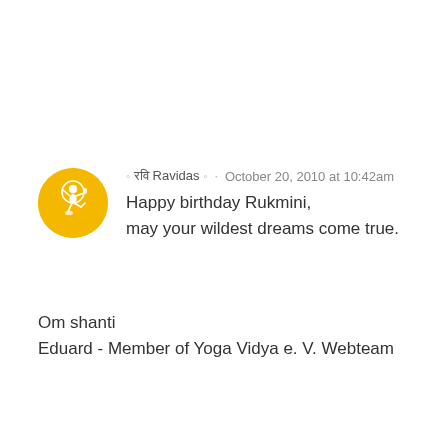[Figure (logo): Circular yellow avatar with a white dancing Nataraja (Shiva) figure in the center]
◦ रवि Ravidas ◦ · October 20, 2010 at 10:42am
Happy birthday Rukmini,
may your wildest dreams come true.
Om shanti
Eduard - Member of Yoga Vidya e. V. Webteam